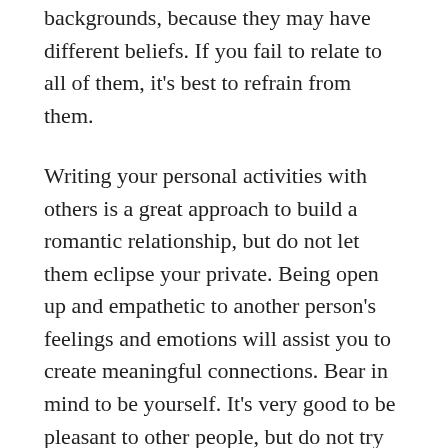backgrounds, because they may have different beliefs. If you fail to relate to all of them, it's best to refrain from them.
Writing your personal activities with others is a great approach to build a romantic relationship, but do not let them eclipse your private. Being open up and empathetic to another person's feelings and emotions will assist you to create meaningful connections. Bear in mind to be yourself. It's very good to be pleasant to other people, but do not try to end up being too nice